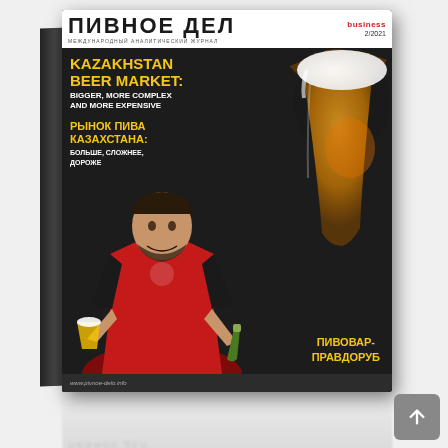[Figure (photo): Magazine cover shown in 3D perspective view. The magazine is titled 'ПИВНОЕ ДЕЛ' (Pivnoe Delo) with 'business' subtitle and issue '2/2021'. The cover features: headline text 'KAZAKHSTAN BEER MARKET: BIGGER, MORE COMPLEX AND MORE EXPENSIVE' in English and Russian 'РЫНОК ПИВА КАЗАХСТАНА: БОЛЬШЕ, СЛОЖНЕЕ, ДОРОЖЕ'; a photo of a man in red and black sports jacket holding a beer glass and bottle; a large beer being poured into a glass; label 'ПИВОВАР-ПРАВДОРУБ' (Brewer-truthteller); website www.pivnoe-delo.info. A reflection of the magazine appears below it, and a gray scroll-to-top button is in the bottom right corner.]